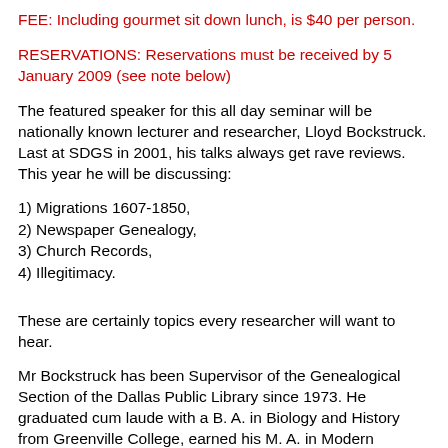FEE: Including gourmet sit down lunch, is $40 per person.
RESERVATIONS: Reservations must be received by 5 January 2009 (see note below)
The featured speaker for this all day seminar will be nationally known lecturer and researcher, Lloyd Bockstruck. Last at SDGS in 2001, his talks always get rave reviews. This year he will be discussing:
1) Migrations 1607-1850,
2) Newspaper Genealogy,
3) Church Records,
4) Illegitimacy.
These are certainly topics every researcher will want to hear.
Mr Bockstruck has been Supervisor of the Genealogical Section of the Dallas Public Library since 1973. He graduated cum laude with a B. A. in Biology and History from Greenville College, earned his M. A. in Modern